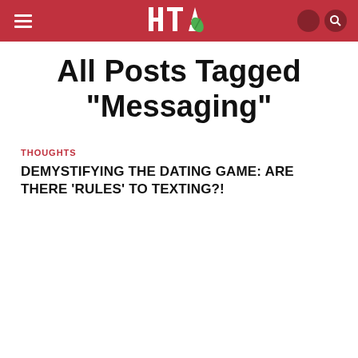HTI (logo with leaf)
All Posts Tagged "Messaging"
THOUGHTS
DEMYSTIFYING THE DATING GAME: ARE THERE ‘RULES’ TO TEXTING?!